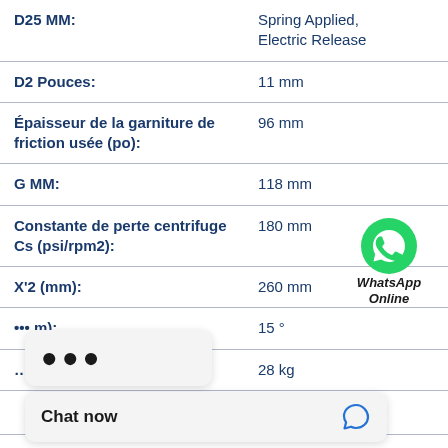| Property | Value |
| --- | --- |
| D25 MM: | Spring Applied, Electric Release |
| D2 Pouces: | 11 mm |
| Épaisseur de la garniture de friction usée (po): | 96 mm |
| G MM: | 118 mm |
| Constante de perte centrifuge Cs (psi/rpm2): | 180 mm |
| X'2 (mm): | 260 mm |
| … (m): | 15 ° |
| … (mm): | 28 kg |
| … (mm): | 0.0037 kgm² |
[Figure (logo): WhatsApp icon with green circle and phone handset, with text 'WhatsApp Online']
[Figure (other): Three-dot loading/menu indicator overlay bubble]
[Figure (other): Chat now button overlay with chat bubble icon]